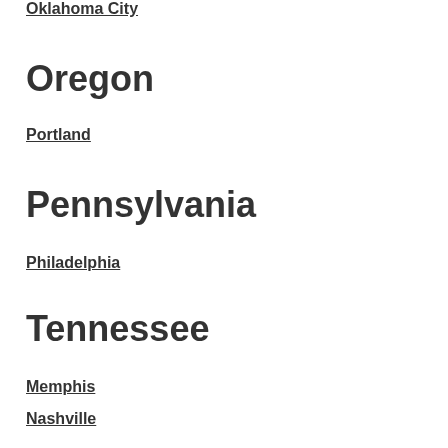Oklahoma City
Oregon
Portland
Pennsylvania
Philadelphia
Tennessee
Memphis
Nashville
T...